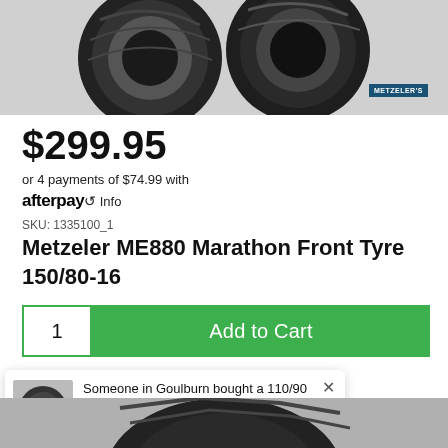[Figure (photo): Metzeler motorcycle tyres product image at top of page, dark grey tyres on grey background with Metzeler brand badge]
$299.95
or 4 payments of $74.99 with afterpay Info
SKU: 1335100_1
Metzeler ME880 Marathon Front Tyre 150/80-16
1  Add to Cart
Someone in Goulburn bought a 110/90 H 19 Marathon Ultra ME888 Front Tyre
21 hours ago
[Figure (photo): Bottom portion showing another Metzeler tyre at the very bottom of the page]